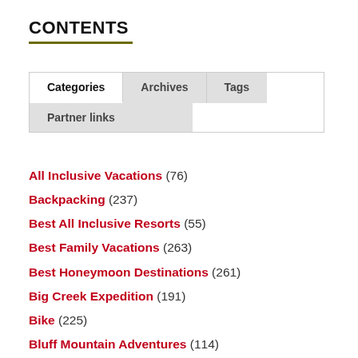CONTENTS
| Categories | Archives | Tags | Partner links |
| --- | --- | --- | --- |
All Inclusive Vacations (76)
Backpacking (237)
Best All Inclusive Resorts (55)
Best Family Vacations (263)
Best Honeymoon Destinations (261)
Big Creek Expedition (191)
Bike (225)
Bluff Mountain Adventures (114)